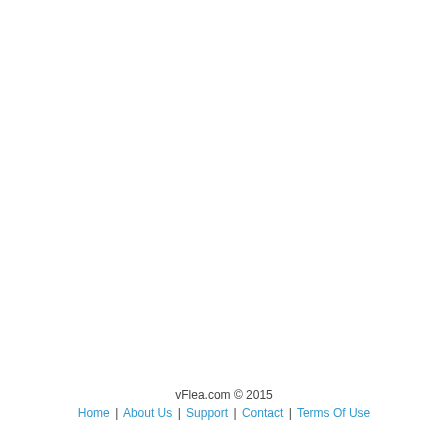vFlea.com © 2015
Home | About Us | Support | Contact | Terms Of Use